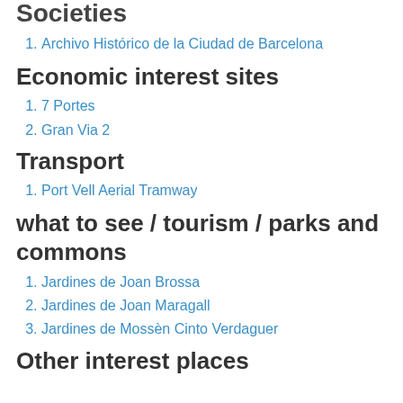Societies
1. Archivo Histórico de la Ciudad de Barcelona
Economic interest sites
1. 7 Portes
2. Gran Via 2
Transport
1. Port Vell Aerial Tramway
what to see / tourism / parks and commons
1. Jardines de Joan Brossa
2. Jardines de Joan Maragall
3. Jardines de Mossèn Cinto Verdaguer
Other interest places